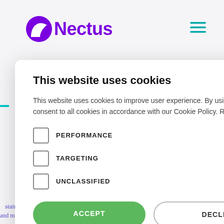[Figure (logo): Nectus logo with purple N icon and purple wordmark text]
[Figure (screenshot): Cookie consent modal dialog overlay on top of a website page]
This website uses cookies
This website uses cookies to improve user experience. By using our website you consent to all cookies in accordance with our Cookie Policy. Read more
PERFORMANCE
TARGETING
UNCLASSIFIED
ACCEPT
DECLINE ALL
SHOW DETAILS
POWERED BY COOKIE-SCRIPT